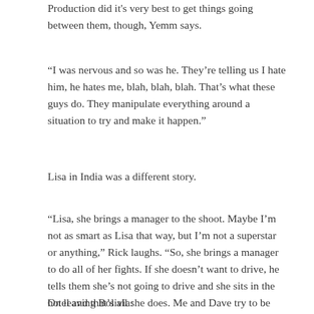Production did it's very best to get things going between them, though, Yemm says.
“I was nervous and so was he. They’re telling us I hate him, he hates me, blah, blah, blah. That’s what these guys do. They manipulate everything around a situation to try and make it happen.”
Lisa in India was a different story.
“Lisa, she brings a manager to the shoot. Maybe I’m not as smart as Lisa that way, but I’m not a superstar or anything,” Rick laughs. “So, she brings a manager to do all of her fights. If she doesn’t want to drive, he tells them she’s not going to drive and she sits in the hotel and that’s all she does. Me and Dave try to be independent and do this on our own.”
On leaving Bolivia: